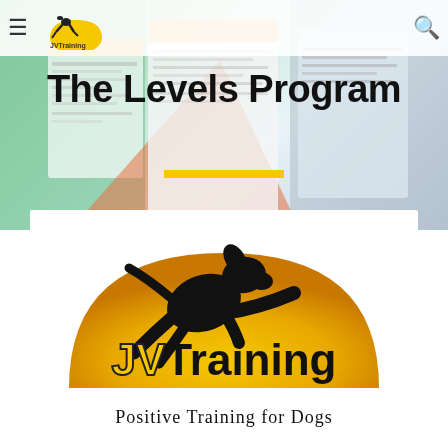JVTraining – Positive Training for Dogs
The Levels Program
[Figure (logo): JVTraining logo: black dog silhouette leaping over a large yellow/gold semicircle. Text 'JVTraining' in bold yellow and black below the semicircle. Subtitle: 'Positive Training for Dogs' in black serif-style font at the bottom.]